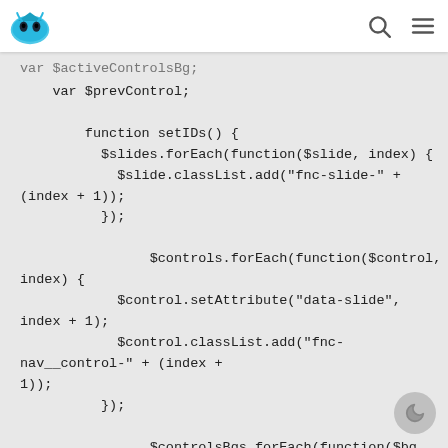[logo] [search icon] [menu icon]
var $activeControlsBg;
    var $prevControl;

        function setIDs() {
          $slides.forEach(function($slide, index) {
            $slide.classList.add("fnc-slide-" + (index + 1));
          });

                $controls.forEach(function($control, index) {
            $control.setAttribute("data-slide", index + 1);
            $control.classList.add("fnc-nav__control-" + (index +
1));
          });

                $controlsBgs.forEach(function($bg, index) {
            $bg.classList.add("fnc-nav__bg-" + (index + 1));
          });
        };